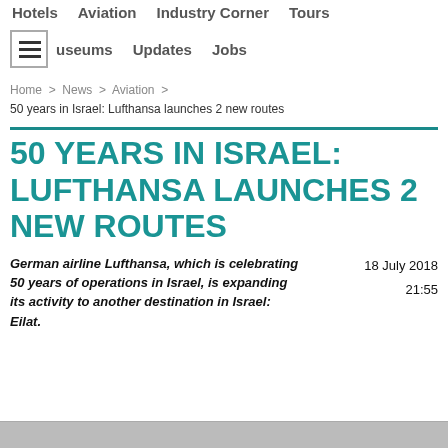Hotels   Aviation   Industry Corner   Tours
Museums   Updates   Jobs
Home > News > Aviation > 50 years in Israel: Lufthansa launches 2 new routes
50 YEARS IN ISRAEL: LUFTHANSA LAUNCHES 2 NEW ROUTES
German airline Lufthansa, which is celebrating 50 years of operations in Israel, is expanding its activity to another destination in Israel: Eilat.
18 July 2018
21:55